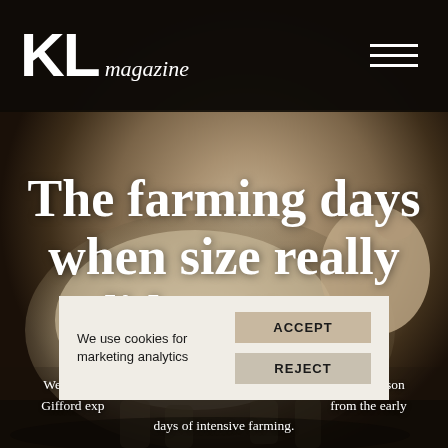[Figure (photo): Sepia-toned photograph of a large white cow/bull standing in a barn, viewed from the side, filling most of the page background]
KL magazine
The farming days when size really did matter...
We tend to ... cows and oversize ... as Alison Gifford explains, they were the result of experiments from the early days of intensive farming.
We use cookies for marketing analytics
ACCEPT
REJECT